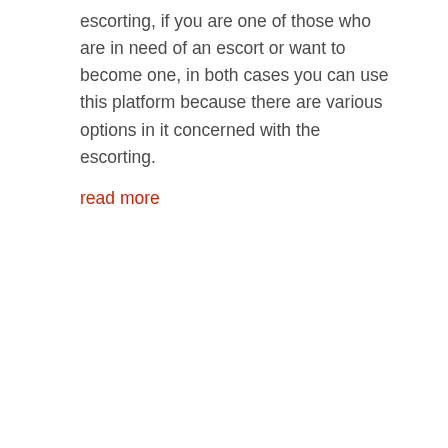escorting, if you are one of those who are in need of an escort or want to become one, in both cases you can use this platform because there are various options in it concerned with the escorting.
read more